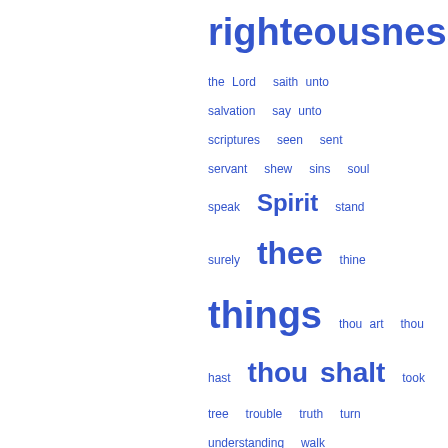[Figure (other): Tag cloud / word index with blue words of varying sizes, showing terms from 'righteousness' and 'saith' at top through 'yourselves' at bottom, with larger sizes indicating higher frequency terms like 'things', 'thou shalt', 'thee', 'Spirit']
Popular passages
Page 85 - Something...